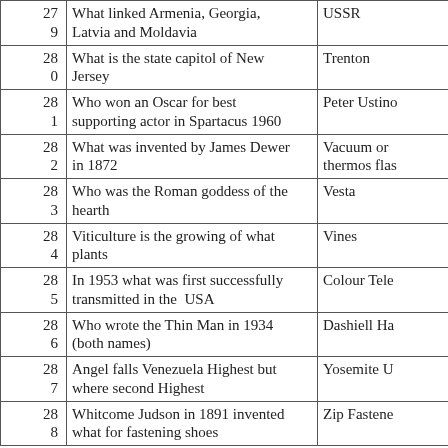| # | Question | Answer |
| --- | --- | --- |
| 27 / 9 | What linked Armenia, Georgia, Latvia and Moldavia | USSR |
| 28 / 0 | What is the state capitol of New Jersey | Trenton |
| 28 / 1 | Who won an Oscar for best supporting actor in Spartacus 1960 | Peter Ustino(v) |
| 28 / 2 | What was invented by James Dewer in 1872 | Vacuum or thermos flas(k) |
| 28 / 3 | Who was the Roman goddess of the hearth | Vesta |
| 28 / 4 | Viticulture is the growing of what plants | Vines |
| 28 / 5 | In 1953 what was first successfully transmitted in the USA | Colour Tele(vision) |
| 28 / 6 | Who wrote the Thin Man in 1934 (both names) | Dashiell Ha(mmett) |
| 28 / 7 | Angel falls Venezuela Highest but where second Highest | Yosemite U(SA) |
| 28 / 8 | Whitcome Judson in 1891 invented what for fastening shoes | Zip Fastene(r) |